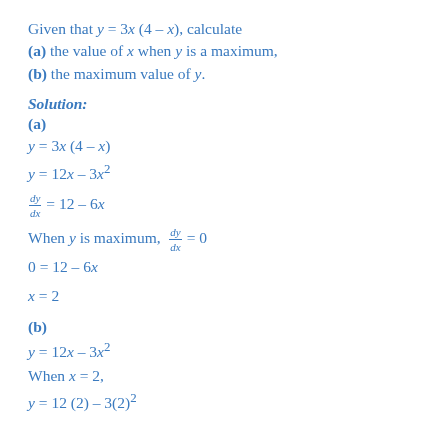Given that y = 3x (4 – x), calculate
(a) the value of x when y is a maximum,
(b) the maximum value of y.
Solution:
(a)
When y is maximum, dy/dx = 0
(b)
When x = 2,